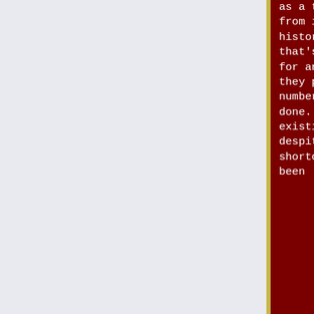as a thing distinct from its material historical reality, that's pretty much for anybody to do as they please and a number of people have done. Just as the existing thing despite its fatal shortcomings has not been
Capitalism as a thing distinct from its material historical reality, that's pretty much for anybody to do as they please and a number of people have done. Just as the existing thing despite its fatal shortcomings